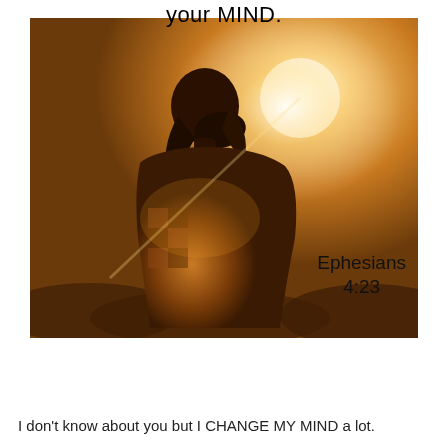your MIND.
[Figure (photo): Woman seen from behind with short hair, sitting outdoors in warm golden sunset light with lens flare. Text overlay reads 'Ephesians 4:23'.]
I don't know about you but I CHANGE MY MIND a lot.